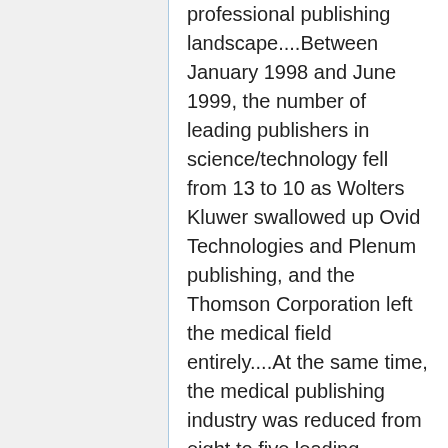professional publishing landscape....Between January 1998 and June 1999, the number of leading publishers in science/technology fell from 13 to 10 as Wolters Kluwer swallowed up Ovid Technologies and Plenum publishing, and the Thomson Corporation left the medical field entirely....At the same time, the medical publishing industry was reduced from eight to five leading publishers....However, all this activity would have paled to insignificance had a proposed merger between Reed Elsevier...and Wolters Kluwer taken place in 1998. This would have created the largest player in